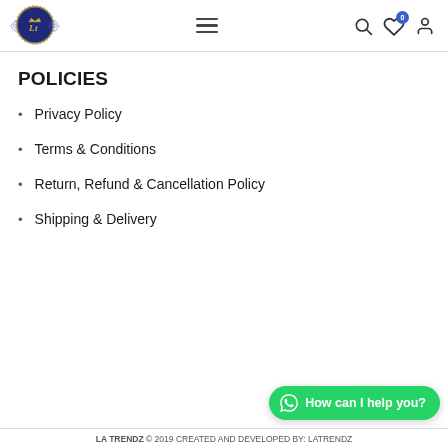LA TRENDZ — navigation header with logo, hamburger menu, search, wishlist, and user icons
POLICIES
Privacy Policy
Terms & Conditions
Return, Refund & Cancellation Policy
Shipping & Delivery
LA TRENDZ © 2019 CREATED AND DEVELOPED BY: LATRENDZ